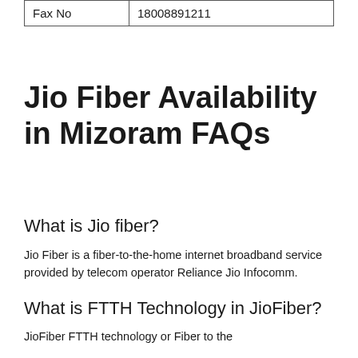| Fax No | 18008891211 |
Jio Fiber Availability in Mizoram FAQs
What is Jio fiber?
Jio Fiber is a fiber-to-the-home internet broadband service provided by telecom operator Reliance Jio Infocomm.
What is FTTH Technology in JioFiber?
JioFiber FTTH technology or Fiber to the